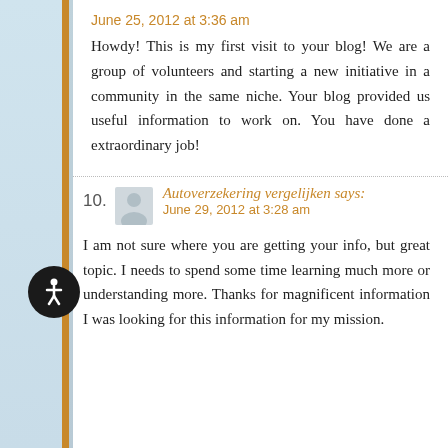June 25, 2012 at 3:36 am
Howdy! This is my first visit to your blog! We are a group of volunteers and starting a new initiative in a community in the same niche. Your blog provided us useful information to work on. You have done a extraordinary job!
10. Autoverzekering vergelijken says:
June 29, 2012 at 3:28 am
I am not sure where you are getting your info, but great topic. I needs to spend some time learning much more or understanding more. Thanks for magnificent information I was looking for this information for my mission.